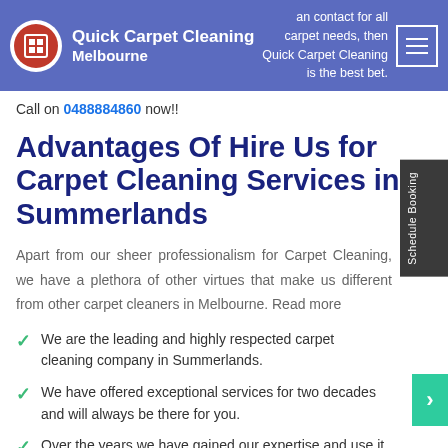Quick Carpet Cleaning Melbourne — reliable contact for all carpet needs, then Quick Carpet Cleaning is the best bet.
Call on 0488884860 now!!
Advantages Of Hire Us for Carpet Cleaning Services in Summerlands
Apart from our sheer professionalism for Carpet Cleaning, we have a plethora of other virtues that make us different from other carpet cleaners in Melbourne. Read more
We are the leading and highly respected carpet cleaning company in Summerlands.
We have offered exceptional services for two decades and will always be there for you.
Over the years we have gained our expertise and use it...